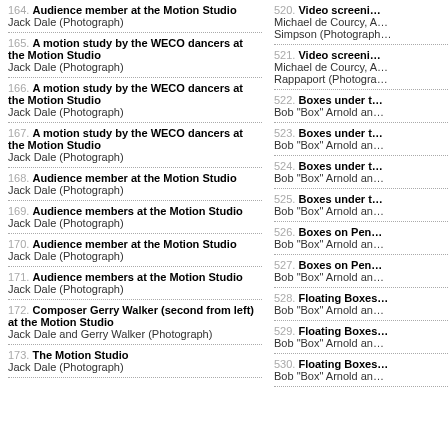164. Audience member at the Motion Studio
Jack Dale (Photograph)
165. A motion study by the WECO dancers at the Motion Studio
Jack Dale (Photograph)
166. A motion study by the WECO dancers at the Motion Studio
Jack Dale (Photograph)
167. A motion study by the WECO dancers at the Motion Studio
Jack Dale (Photograph)
168. Audience member at the Motion Studio
Jack Dale (Photograph)
169. Audience members at the Motion Studio
Jack Dale (Photograph)
170. Audience member at the Motion Studio
Jack Dale (Photograph)
171. Audience members at the Motion Studio
Jack Dale (Photograph)
172. Composer Gerry Walker (second from left) at the Motion Studio
Jack Dale and Gerry Walker (Photograph)
173. The Motion Studio
Jack Dale (Photograph)
520. Video screening...
Michael de Courcy, A... Simpson (Photograph...)
521. Video screening...
Michael de Courcy, A... Rappaport (Photograph...)
522. Boxes under t...
Bob "Box" Arnold an...
523. Boxes under t...
Bob "Box" Arnold an...
524. Boxes under t...
Bob "Box" Arnold an...
525. Boxes under t...
Bob "Box" Arnold an...
526. Boxes on Pen...
Bob "Box" Arnold an...
527. Boxes on Pen...
Bob "Box" Arnold an...
528. Floating Boxes...
Bob "Box" Arnold an...
529. Floating Boxes...
Bob "Box" Arnold an...
530. Floating Boxes...
Bob "Box" Arnold an...